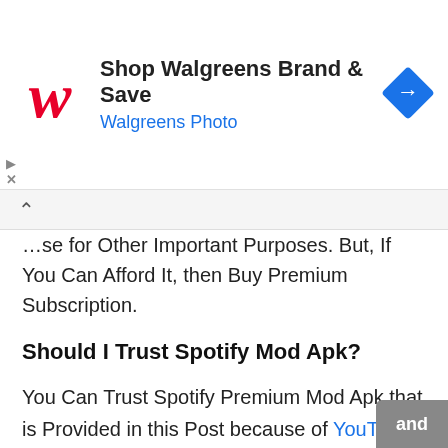[Figure (screenshot): Walgreens advertisement banner with red cursive W logo, text 'Shop Walgreens Brand & Save' and 'Walgreens Photo' in blue, and a blue diamond-shaped arrow navigation icon on the right.]
...se for Other Important Purposes. But, If You Can Afford It, then Buy Premium Subscription.
Should I Trust Spotify Mod Apk?
You Can Trust Spotify Premium Mod Apk that is Provided in this Post because of YouTech Shares Mod Apk, Which is First Tested For Viruses, Malware, bugs, etc.
If the Mod is Working Well without any Issues and also it doesn't contain any type of Viruses, then We